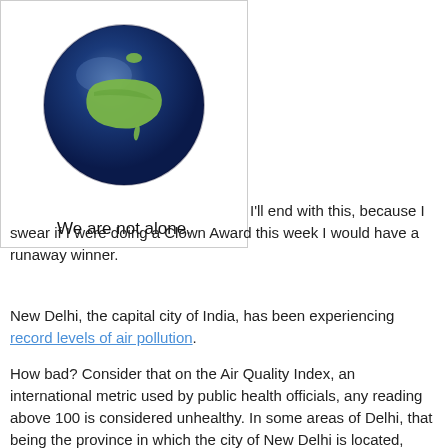[Figure (illustration): A globe illustration showing Earth with a blue ocean background and the outline of the United States highlighted in green.]
We are not alone.
I'll end with this, because I swear if I were doing a Clown Award this week I would have a runaway winner.
New Delhi, the capital city of India, has been experiencing record levels of air pollution.
How bad? Consider that on the Air Quality Index, an international metric used by public health officials, any reading above 100 is considered unhealthy. In some areas of Delhi, that being the province in which the city of New Delhi is located, during the first week of November that index was well over 900.